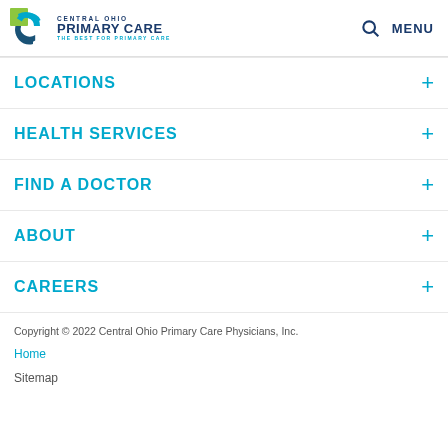Central Ohio Primary Care — THE BEST FOR PRIMARY CARE
LOCATIONS
HEALTH SERVICES
FIND A DOCTOR
ABOUT
CAREERS
Copyright © 2022 Central Ohio Primary Care Physicians, Inc.
Home
Sitemap